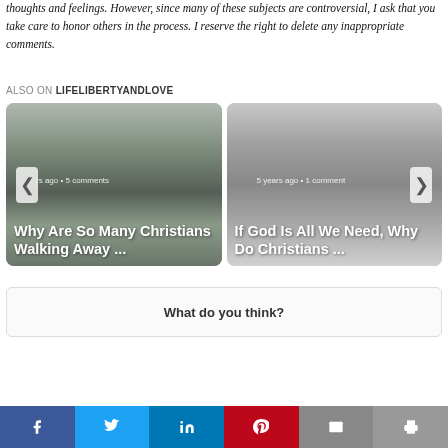thoughts and feelings. However, since many of these subjects are controversial, I ask that you take care to honor others in the process. I reserve the right to delete any inappropriate comments.
ALSO ON LIFELIBERTYANDLOVE
[Figure (illustration): Two side-by-side article cards in a carousel. Left card shows a person walking on a foggy road (grayscale), with text '5 comments' and title 'Why Are So Many Christians Walking Away ...' Right card shows a person hunched over (grayscale), with text '5 years ago • 1 comment' and title 'If God Is All We Need, Why Do Christians ...' Navigation arrows on left and right.]
What do you think?
[Figure (infographic): Social share buttons: Facebook (blue), Twitter (light blue), LinkedIn (dark blue), Pinterest (red), Email (grey), Print (grey)]